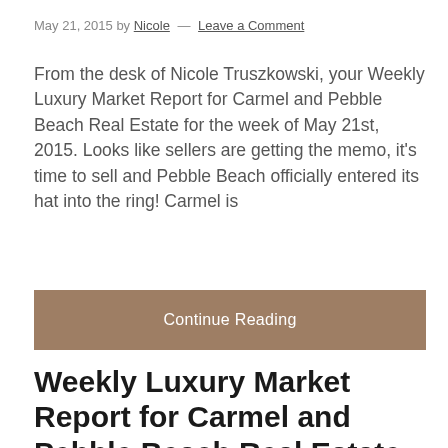May 21, 2015 by Nicole — Leave a Comment
From the desk of Nicole Truszkowski, your Weekly Luxury Market Report for Carmel and Pebble Beach Real Estate for the week of May 21st, 2015. Looks like sellers are getting the memo, it’s time to sell and Pebble Beach officially entered its hat into the ring! Carmel is
Continue Reading
Weekly Luxury Market Report for Carmel and Pebble Beach Real Estate for the Week of